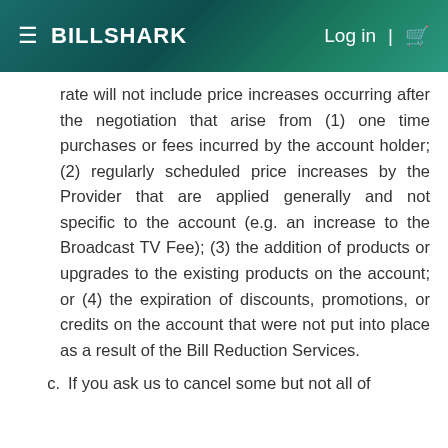BILLSHARK   Log in | 🛒
rate will not include price increases occurring after the negotiation that arise from (1) one time purchases or fees incurred by the account holder; (2) regularly scheduled price increases by the Provider that are applied generally and not specific to the account (e.g. an increase to the Broadcast TV Fee); (3) the addition of products or upgrades to the existing products on the account; or (4) the expiration of discounts, promotions, or credits on the account that were not put into place as a result of the Bill Reduction Services.
c. If you ask us to cancel some but not all of